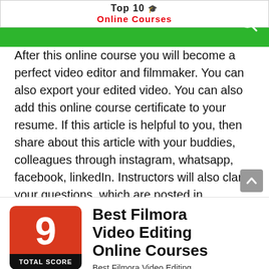Top 10 🎓 Online Courses
After this online course you will become a perfect video editor and filmmaker. You can also export your edited video. You can also add this online course certificate to your resume. If this article is helpful to you, then share about this article with your buddies, colleagues through instagram, whatsapp, facebook, linkedIn. Instructors will also clarify your questions, which are posted in comment box.
[Figure (infographic): Score card showing 9 TOTAL SCORE in red and black badge]
Best Filmora Video Editing Online Courses
Best Filmora Video Editing